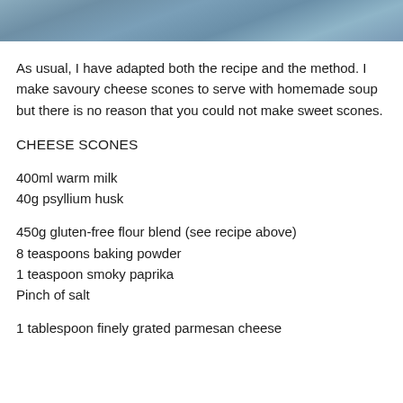[Figure (photo): Partial photo visible at top of page, appears to show an outdoor or food-related scene with blue-grey tones]
As usual, I have adapted both the recipe and the method. I make savoury cheese scones to serve with homemade soup but there is no reason that you could not make sweet scones.
CHEESE SCONES
400ml warm milk
40g psyllium husk
450g gluten-free flour blend (see recipe above)
8 teaspoons baking powder
1 teaspoon smoky paprika
Pinch of salt
1 tablespoon finely grated parmesan cheese